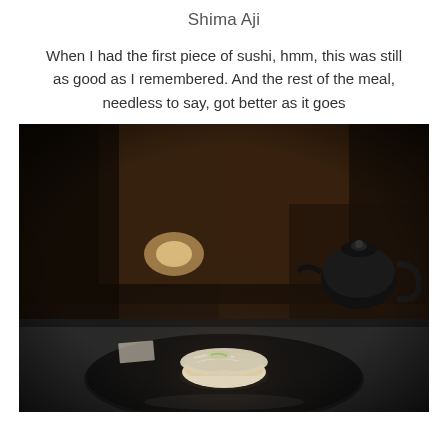Shima Aji
When I had the first piece of sushi, hmm, this was still as good as I remembered. And the rest of the meal, needless to say, got better as it goes
[Figure (photo): A piece of shima aji (striped jack) nigiri sushi placed on a dark round plate on a black counter, with a dark moody restaurant background featuring a black teapot and dim lighting.]